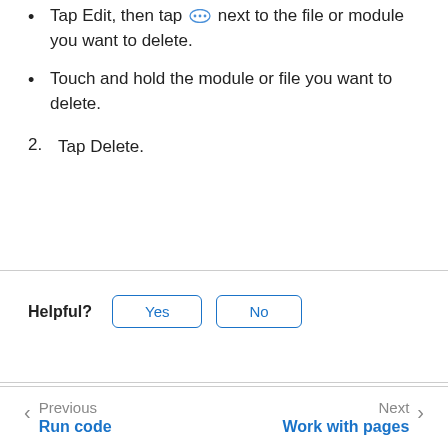Tap Edit, then tap ⋯ next to the file or module you want to delete.
Touch and hold the module or file you want to delete.
2. Tap Delete.
Helpful? Yes No
Previous Run code | Next Work with pages